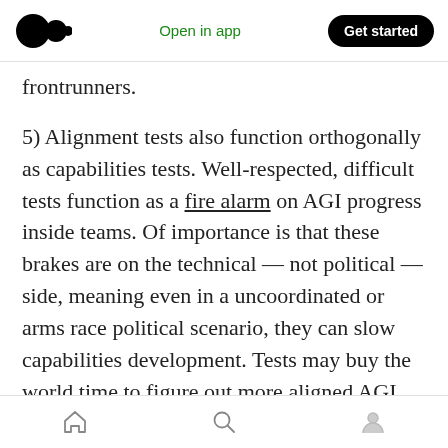Medium app header — Open in app | Get started
frontrunners.
5) Alignment tests also function orthogonally as capabilities tests. Well-respected, difficult tests function as a fire alarm on AGI progress inside teams. Of importance is that these brakes are on the technical — not political — side, meaning even in a uncoordinated or arms race political scenario, they can slow capabilities development. Tests may buy the world time to figure out more aligned AGI design.
6) Testing can include introspection at every
Bottom navigation bar with home, search, and profile icons